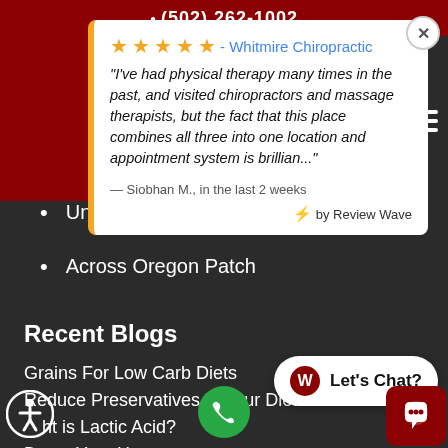(502) 262-1002
[Figure (screenshot): Review card from Whitmire Chiropractic with 5 stars. Text: "I've had physical therapy many times in the past, and visited chiropractors and massage therapists, but the fact that this place combines all three into one location and appointment system is brillian..." — Siobhan M., in the last 2 weeks. Powered by Review Wave.]
University of Western States
Across Oregon Patch
Recent Blogs
Grains For Low Carb Diets
Reduce Preservatives in Your Diet
What is Lactic Acid?
Detox Your Home